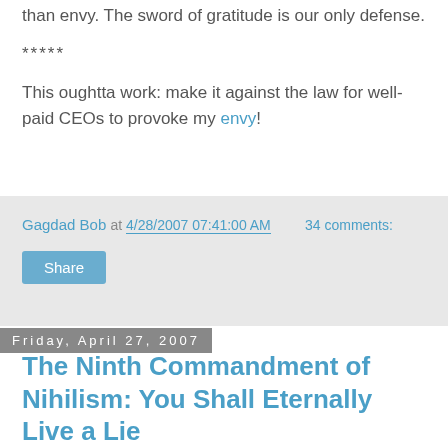than envy. The sword of gratitude is our only defense.
*****
This oughtta work: make it against the law for well-paid CEOs to provoke my envy!
Gagdad Bob at 4/28/2007 07:41:00 AM   34 comments:
Share
Friday, April 27, 2007
The Ninth Commandment of Nihilism: You Shall Eternally Live a Lie
What an outstanding link forwarded to us by Johan the Cosmic Swede, The Big White Lie. In it, the author summarizes the appeal of conservatism:
"The thing I like best about being a conservative is that I don't have to lie. I don't have to pretend that men and